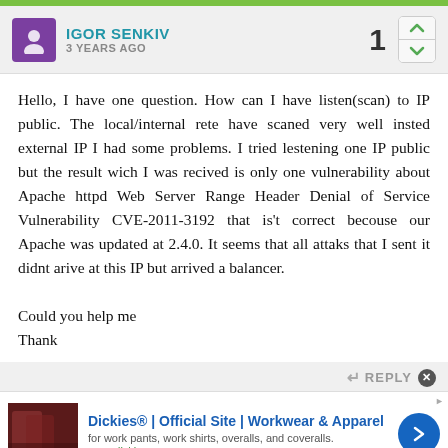IGOR SENKIV · 3 YEARS AGO · vote: 1
Hello, I have one question. How can I have listen(scan) to IP public. The local/internal rete have scaned very well insted external IP I had some problems. I tried lestening one IP public but the result wich I was recived is only one vulnerability about Apache httpd Web Server Range Header Denial of Service Vulnerability CVE-2011-3192 that is't correct becouse our Apache was updated at 2.4.0. It seems that all attaks that I sent it didnt arive at this IP but arrived a balancer.

Could you help me
Thank
REPLY
Dickies® | Official Site | Workwear & Apparel
for work pants, work shirts, overalls, and coveralls.
www.dickies.com